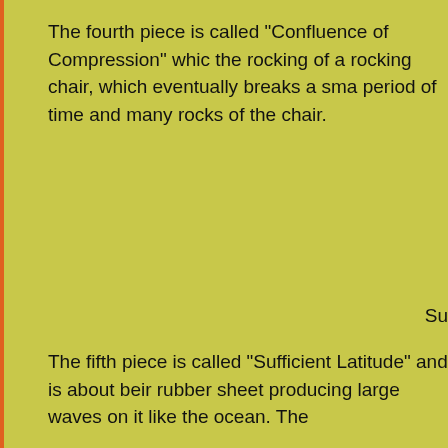The fourth piece is called "Confluence of Compression" which the rocking of a rocking chair, which eventually breaks a sma period of time and many rocks of the chair.
Su
The fifth piece is called "Sufficient Latitude" and is about beir rubber sheet producing large waves on it like the ocean. The